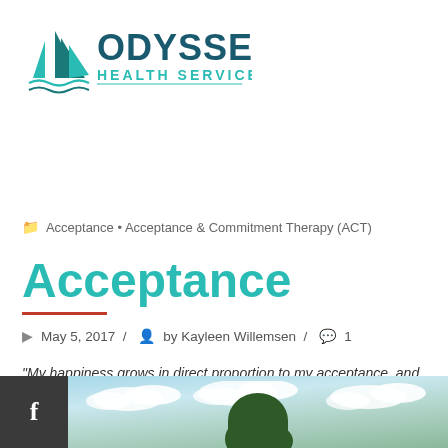[Figure (logo): Odyssey Health Services logo with sailboat icon in teal/dark teal colors]
Acceptance • Acceptance & Commitment Therapy (ACT)
Acceptance
May 5, 2017 / by Kayleen Willemsen / 1
"My happiness grows in direct proportion to my acceptance, and in inverse proportion to my expectations" –Michael J. Fox
[Figure (photo): Sky with clouds and treetop, with Facebook icon bar on left side]